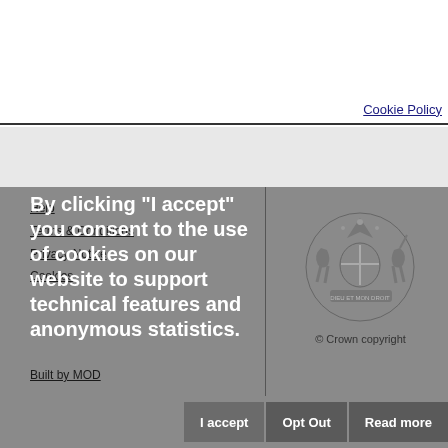Cookie Policy
By clicking "I accept" you consent to the use of cookies on our website to support technical features and anonymous statistics.
Help
Terms & Conditions
Privacy Notice
Cookies
Built by MOD
[Figure (logo): UK Crown copyright seal/crest with lion and unicorn supporters, globe, and motto ribbon]
© Crown copyright